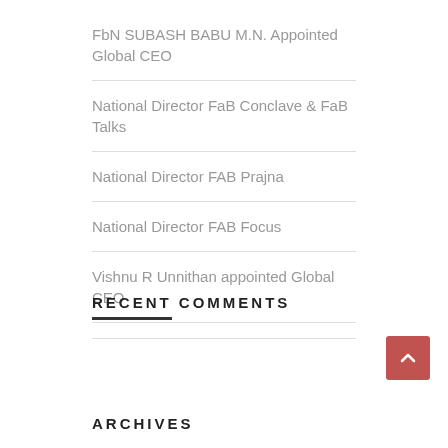FbN SUBASH BABU M.N. Appointed Global CEO
National Director FaB Conclave & FaB Talks
National Director FAB Prajna
National Director FAB Focus
Vishnu R Unnithan appointed Global CEO
RECENT COMMENTS
ARCHIVES